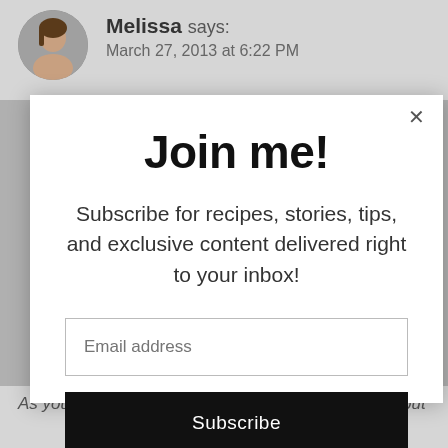Melissa says: March 27, 2013 at 6:22 PM
Join me!
Subscribe for recipes, stories, tips, and exclusive content delivered right to your inbox!
Email address
Subscribe
As you know, I like to bake. When Reynold's came out with the foil non-stick, it changed my life...